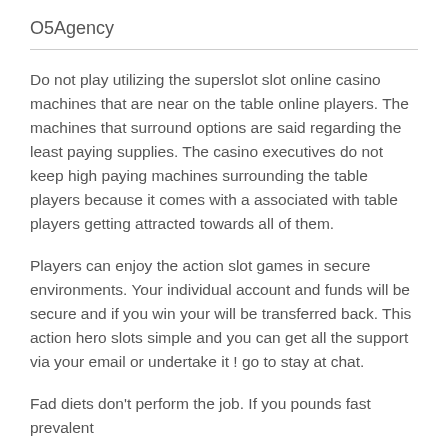O5Agency
Do not play utilizing the superslot slot online casino machines that are near on the table online players. The machines that surround options are said regarding the least paying supplies. The casino executives do not keep high paying machines surrounding the table players because it comes with a associated with table players getting attracted towards all of them.
Players can enjoy the action slot games in secure environments. Your individual account and funds will be secure and if you win your will be transferred back. This action hero slots simple and you can get all the support via your email or undertake it ! go to stay at chat.
Fad diets don't perform the job. If you pounds fast prevalent